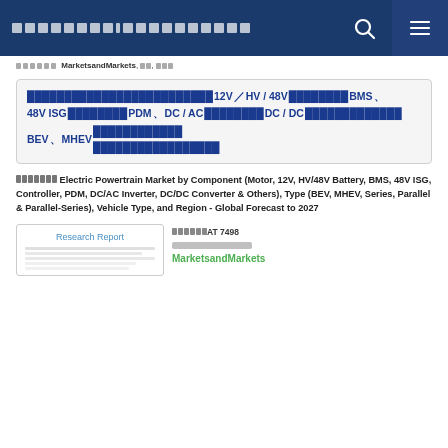MarketsandMarkets [navigation header]
██████ MarketsandMarkets, ██, ███
████████████████████████████12V／HV / 48V████████BMS、48V ISG████████PDM、DC / AC████████DC / DC█████████████BEV、MHEV████████████████████████████
███████Electric Powertrain Market by Component (Motor, 12V, HV/48V Battery, BMS, 48V ISG, Controller, PDM, DC/AC Inverter, DC/DC Converter & Others), Type (BEV, MHEV, Series, Parallel & Parallel-Series), Vehicle Type, and Region - Global Forecast to 2027
[Figure (other): Research Report document thumbnail with small text lines below label]
██████AT 7498
██████████
MarketsandMarkets